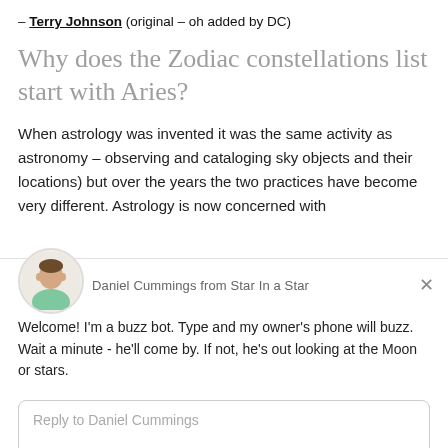– Terry Johnson (original – oh added by DC)
Why does the Zodiac constellations list start with Aries?
When astrology was invented it was the same activity as astronomy – observing and cataloging sky objects and their locations) but over the years the two practices have become very different. Astrology is now concerned with
[Figure (screenshot): Chat widget popup from 'Daniel Cummings from Star In a Star' with welcome message and reply input box, branded by Drift]
Daniel Cummings from Star In a Star
Welcome! I'm a buzz bot. Type and my owner's phone will buzz. Wait a minute - he'll come by. If not, he's out looking at the Moon or stars.
Reply to Daniel Cummings
Chat ⚡ by Drift